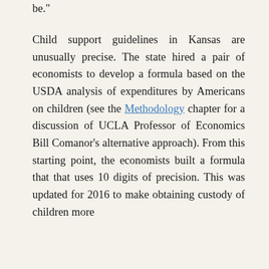be."
Child support guidelines in Kansas are unusually precise. The state hired a pair of economists to develop a formula based on the USDA analysis of expenditures by Americans on children (see the Methodology chapter for a discussion of UCLA Professor of Economics Bill Comanor's alternative approach). From this starting point, the economists built a formula that that uses 10 digits of precision. This was updated for 2016 to make obtaining custody of children more